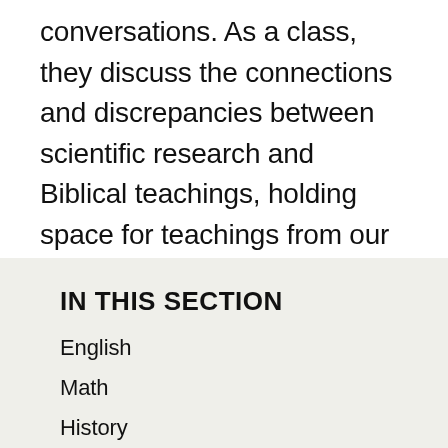conversations. As a class, they discuss the connections and discrepancies between scientific research and Biblical teachings, holding space for teachings from our Jewish tradition next to scientific and mathematical theories of creation and evolution.
IN THIS SECTION
English
Math
History
S...